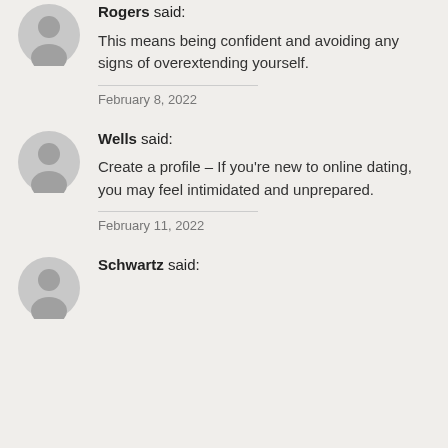Rogers said:
This means being confident and avoiding any signs of overextending yourself.
February 8, 2022
Wells said:
Create a profile – If you're new to online dating, you may feel intimidated and unprepared.
February 11, 2022
Schwartz said: